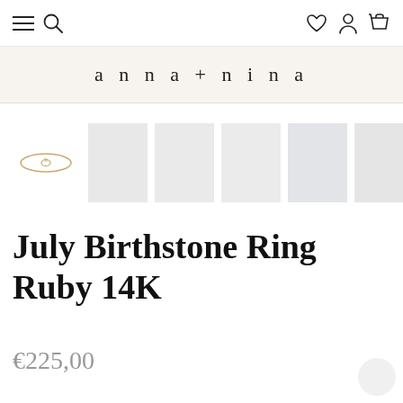anna+nina — navigation bar with menu, search, wishlist, account, and cart icons
anna+nina
[Figure (photo): Product thumbnail strip showing a small ring icon on the left followed by five light gray placeholder image squares]
July Birthstone Ring Ruby 14K
€225,00